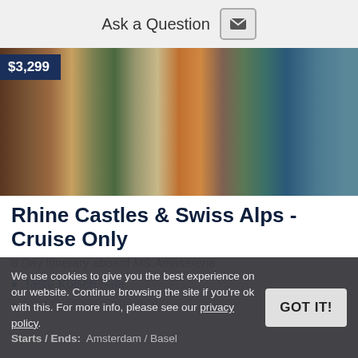Ask a Question
[Figure (photo): Aerial/riverside photo of a European city (Basel/Rhine area) with historic buildings on a hillside, stone arches, and a river. Price badge overlay showing $3,299.]
Rhine Castles & Swiss Alps - Cruise Only
8 Day Itinerary aboard MS Amaserena
Taste Kölsch beer
Visit Cologne Cathedral
We use cookies to give you the best experience on our website. Continue browsing the site if you're ok with this. For more info, please see our privacy policy.
Starts / Ends: Amsterdam / Basel